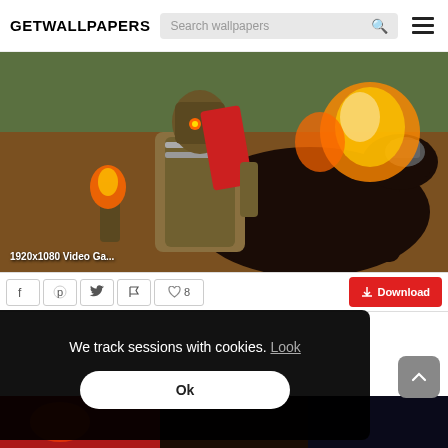GETWALLPAPERS
[Figure (screenshot): Website header with GETWALLPAPERS logo, search bar, and hamburger menu]
[Figure (photo): Fantasy video game wallpaper showing an armored warrior on a flaming horse — 1920x1080 Video Ga...]
1920x1080 Video Ga...
[Figure (screenshot): Action bar with social share icons (Facebook, Pinterest, Twitter, Flag), like count 8, and red Download button]
We track sessions with cookies. Look
Ok